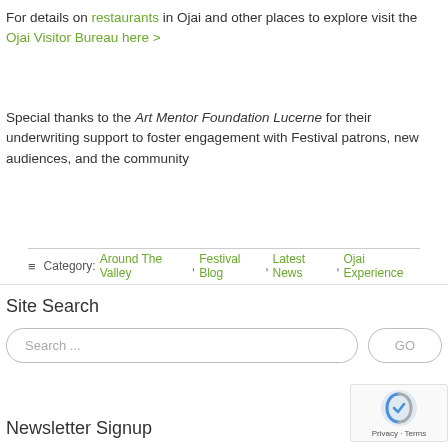For details on restaurants in Ojai and other places to explore visit the Ojai Visitor Bureau here >
Special thanks to the Art Mentor Foundation Lucerne for their underwriting support to foster engagement with Festival patrons, new audiences, and the community
≡ Category: Around The Valley, Festival Blog, Latest News, Ojai Experience
Site Search
Search ...
Newsletter Signup